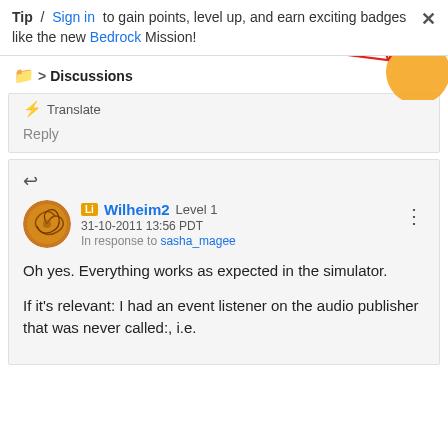Tip / Sign in to gain points, level up, and earn exciting badges like the new Bedrock Mission!
Discussions
Translate
Reply
Wilheim2 Level 1
31-10-2011 13:56 PDT
In response to sasha_magee
Oh yes. Everything works as expected in the simulator.

If it's relevant: I had an event listener on the audio publisher that was never called:, i.e.